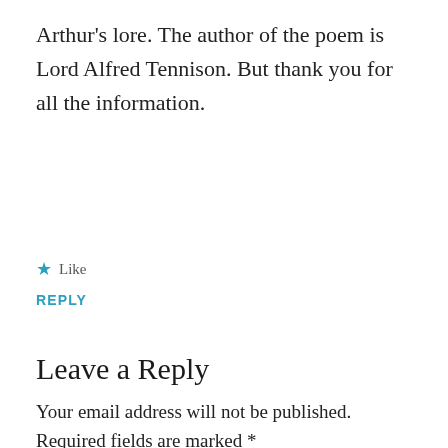Arthur's lore. The author of the poem is Lord Alfred Tennison. But thank you for all the information.
★ Like
REPLY
Leave a Reply
Your email address will not be published. Required fields are marked *
COMMENT *